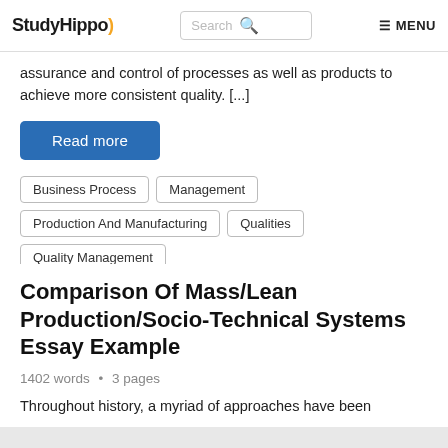StudyHippo | Search | MENU
assurance and control of processes as well as products to achieve more consistent quality. [...]
Read more
Business Process
Management
Production And Manufacturing
Qualities
Quality Management
Comparison Of Mass/Lean Production/Socio-Technical Systems Essay Example
1402 words • 3 pages
Throughout history, a myriad of approaches have been